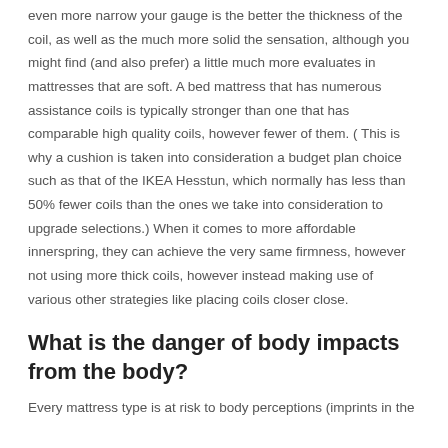even more narrow your gauge is the better the thickness of the coil, as well as the much more solid the sensation, although you might find (and also prefer) a little much more evaluates in mattresses that are soft. A bed mattress that has numerous assistance coils is typically stronger than one that has comparable high quality coils, however fewer of them. ( This is why a cushion is taken into consideration a budget plan choice such as that of the IKEA Hesstun, which normally has less than 50% fewer coils than the ones we take into consideration to upgrade selections.) When it comes to more affordable innerspring, they can achieve the very same firmness, however not using more thick coils, however instead making use of various other strategies like placing coils closer close.
What is the danger of body impacts from the body?
Every mattress type is at risk to body perceptions (imprints in the